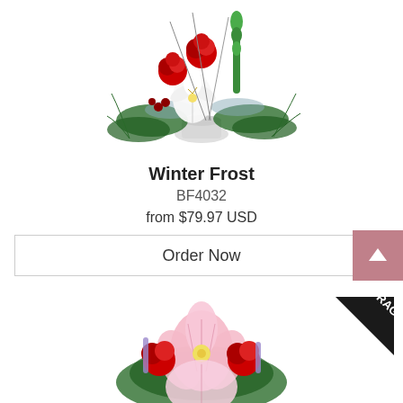[Figure (photo): Floral arrangement with red roses, white lilies, green foliage, and winter greens in a white vase — Winter Frost bouquet]
Winter Frost
BF4032
from $79.97 USD
Order Now
[Figure (photo): Floral arrangement with pink stargazer lilies and red roses with a FRAGRANT banner ribbon in the top right corner]